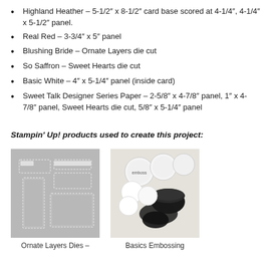Highland Heather – 5-1/2″ x 8-1/2″ card base scored at 4-1/4″, 4-1/4″ x 5-1/2″ panel.
Real Red – 3-3/4″ x 5″ panel
Blushing Bride – Ornate Layers die cut
So Saffron – Sweet Hearts die cut
Basic White – 4″ x 5-1/4″ panel (inside card)
Sweet Talk Designer Series Paper – 2-5/8″ x 4-7/8″ panel, 1″ x 4-7/8″ panel, Sweet Hearts die cut, 5/8″ x 5-1/4″ panel
Stampin' Up! products used to create this project:
[Figure (photo): Ornate Layers Dies product photo on grey background]
Ornate Layers Dies –
[Figure (photo): Basics Embossing product photo on light background]
Basics Embossing